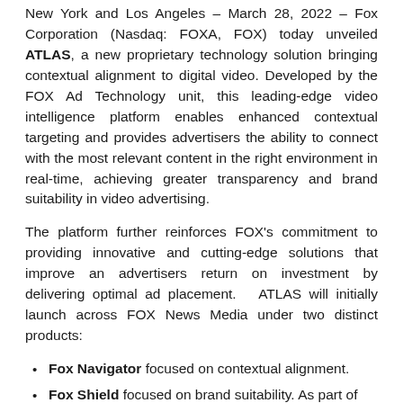New York and Los Angeles – March 28, 2022 – Fox Corporation (Nasdaq: FOXA, FOX) today unveiled ATLAS, a new proprietary technology solution bringing contextual alignment to digital video. Developed by the FOX Ad Technology unit, this leading-edge video intelligence platform enables enhanced contextual targeting and provides advertisers the ability to connect with the most relevant content in the right environment in real-time, achieving greater transparency and brand suitability in video advertising.
The platform further reinforces FOX's commitment to providing innovative and cutting-edge solutions that improve an advertisers return on investment by delivering optimal ad placement.   ATLAS will initially launch across FOX News Media under two distinct products:
Fox Navigator focused on contextual alignment.
Fox Shield focused on brand suitability. As part of the